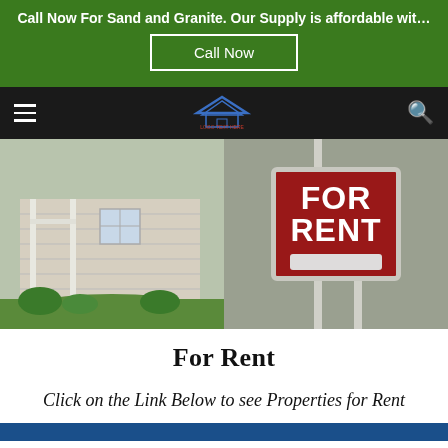Call Now For Sand and Granite. Our Supply is affordable wit…
Call Now
[Figure (screenshot): Navigation bar with hamburger menu, logo, and search icon on dark background]
[Figure (photo): Split image: left side shows a house with white porch and green lawn; right side shows a red 'FOR RENT' sign]
For Rent
Click on the Link Below to see Properties for Rent
[Figure (other): Blue button bar at bottom]